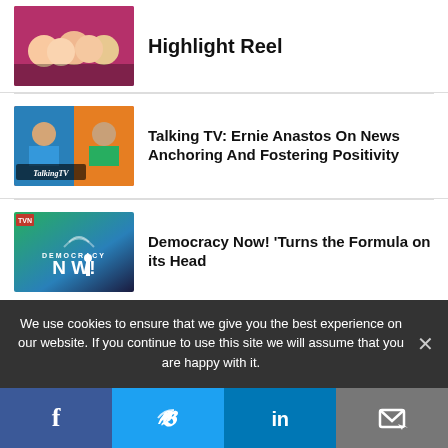[Figure (photo): Partial article thumbnail showing group of people]
Highlight Reel
[Figure (photo): Talking TV show thumbnail with two people on video call, Talking TV logo overlay on orange/red background]
Talking TV: Ernie Anastos On News Anchoring And Fostering Positivity
[Figure (photo): Democracy Now! show logo on green/blue gradient background]
Democracy Now! 'Turns the Formula on its Head
[Figure (photo): TVN grid of headshots with TVN logo in center on red background]
Producing More Programming Without Breaking The Bank (Or
We use cookies to ensure that we give you the best experience on our website. If you continue to use this site we will assume that you are happy with it.
Facebook Twitter LinkedIn Email